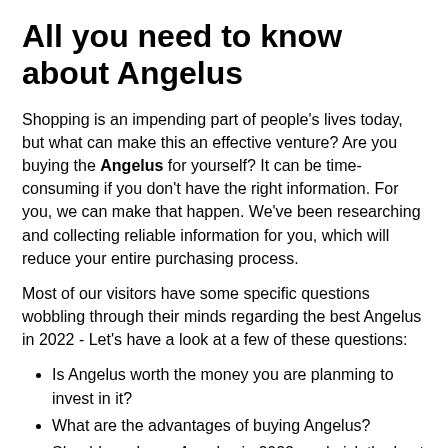All you need to know about Angelus
Shopping is an impending part of people's lives today, but what can make this an effective venture? Are you buying the Angelus for yourself? It can be time-consuming if you don't have the right information. For you, we can make that happen. We've been researching and collecting reliable information for you, which will reduce your entire purchasing process.
Most of our visitors have some specific questions wobbling through their minds regarding the best Angelus in 2022 - Let's have a look at a few of these questions:
Is Angelus worth the money you are planming to invest in it?
What are the advantages of buying Angelus?
Should you buy a Angelus in 2022, and pick the best one?
What to consider before buying the top Angelus?
Which are the best Angelus available today on the